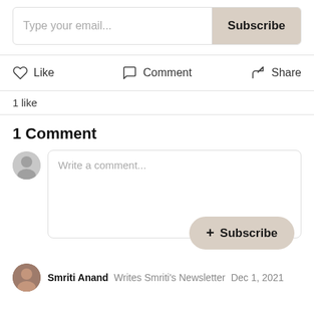[Figure (screenshot): Email subscription input field with 'Type your email...' placeholder and a 'Subscribe' button on the right with beige background]
[Figure (infographic): Action bar with Like (heart icon), Comment (speech bubble icon), and Share (arrow icon) buttons]
1 like
1 Comment
[Figure (screenshot): Comment input area with gray avatar on left and comment text box with 'Write a comment...' placeholder and a beige '+ Subscribe' button overlay]
Smriti Anand   Writes Smriti's Newsletter   Dec 1, 2021